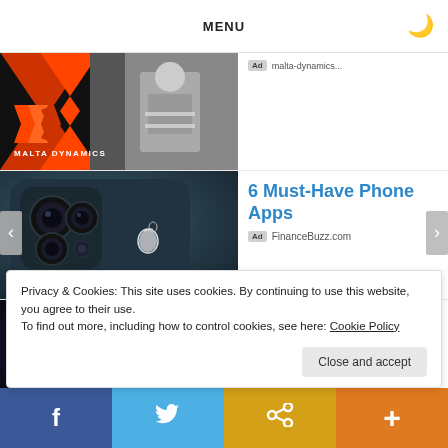MENU
[Figure (screenshot): Malta Dynamics advertisement banner with logo and orange chevron on dark background]
[Figure (photo): iPhone close-up showing triple camera system, Apple logo, in dark teal color]
6 Must-Have Phone Apps
Ad FinanceBuzz.com
[Figure (screenshot): AVerMedia Live Gamer Extreme 3 capture card advertisement with dark purple/blue gaming background]
AVerMedia 4K VRR Capture Card
Privacy & Cookies: This site uses cookies. By continuing to use this website, you agree to their use. To find out more, including how to control cookies, see here: Cookie Policy
Close and accept